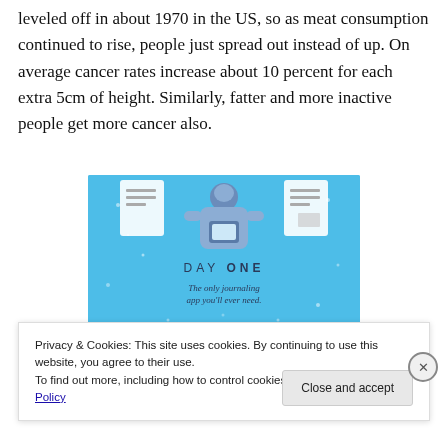leveled off in about 1970 in the US, so as meat consumption continued to rise, people just spread out instead of up. On average cancer rates increase about 10 percent for each extra 5cm of height. Similarly, fatter and more inactive people get more cancer also.
[Figure (illustration): DAY ONE journaling app advertisement banner with light blue background, a person illustration holding a phone, and tagline 'The only journaling app you'll ever need.']
Privacy & Cookies: This site uses cookies. By continuing to use this website, you agree to their use.
To find out more, including how to control cookies, see here: Cookie Policy